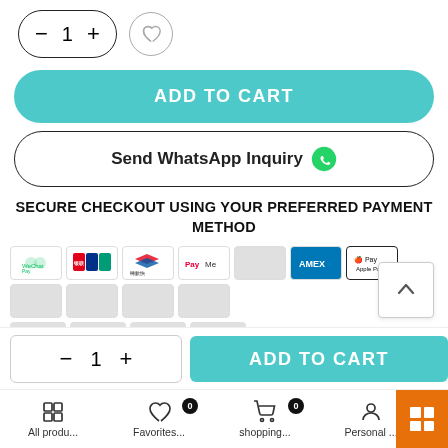[Figure (screenshot): Quantity selector with minus, 1, plus buttons in pill shape and a heart/wishlist button]
ADD TO CART
Send WhatsApp Inquiry
SECURE CHECKOUT USING YOUR PREFERRED PAYMENT METHOD
[Figure (infographic): Payment method icons row: WeChat Pay, UnionPay, FPS, PayMe, Amex, Apple Pay, and several blank card placeholders]
ask a question
[Figure (screenshot): Bottom bar with quantity selector (minus, 1, plus) and ADD TO CART button in teal]
All produ... Favorites... shopping... Personal... sear